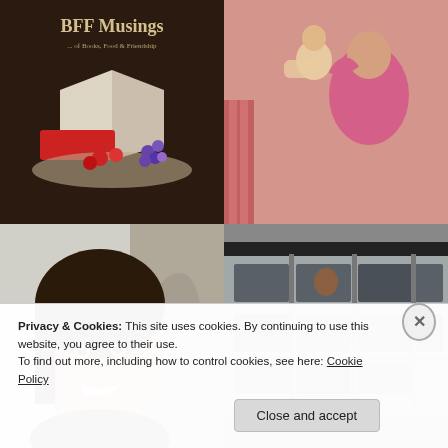[Figure (photo): BFF Musings blog logo — dark brown background with open books and a plate of strawberries and grapes, text reads 'BFF Musings ... of Books, Food & Friendship']
[Figure (photo): Vintage photo of a woman in pink clothing holding and kissing a toddler]
[Figure (photo): Selfie of a smiling young woman with dark hair, resting her chin on her hand]
[Figure (photo): Photo of a multi-storey train or bus with a person visible through the window]
Privacy & Cookies: This site uses cookies. By continuing to use this website, you agree to their use.
To find out more, including how to control cookies, see here: Cookie Policy
Close and accept